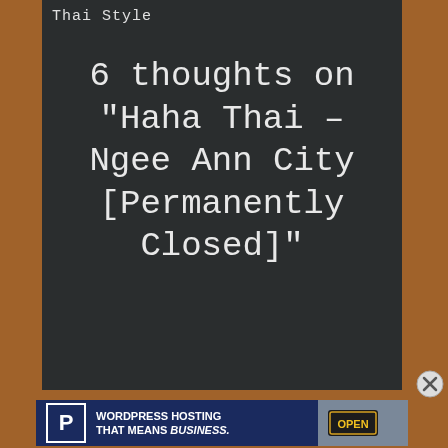[Figure (screenshot): Chalkboard-style blog post header image on a wood background. Text reads 'Thai Style' in top left, and center text reads '6 thoughts on "Haha Thai - Ngee Ann City [Permanently Closed]"']
[Figure (screenshot): WordPress Hosting advertisement banner with navy background, P logo, text 'WORDPRESS HOSTING THAT MEANS BUSINESS.' and an OPEN sign photo on the right.]